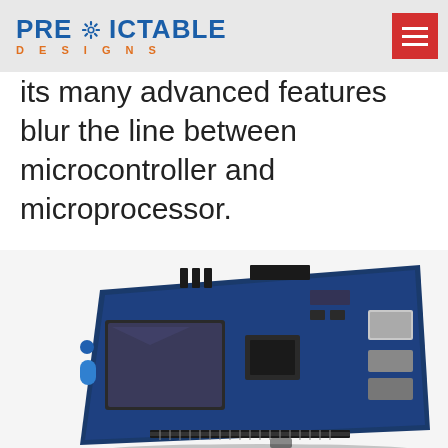PREDICTABLE DESIGNS
its many advanced features blur the line between microcontroller and microprocessor.
[Figure (photo): Photo of a blue microcontroller/development board (STM32 or similar) with a touchscreen display, various connectors (USB, Ethernet, GPIO headers), viewed at an angle on a white background.]